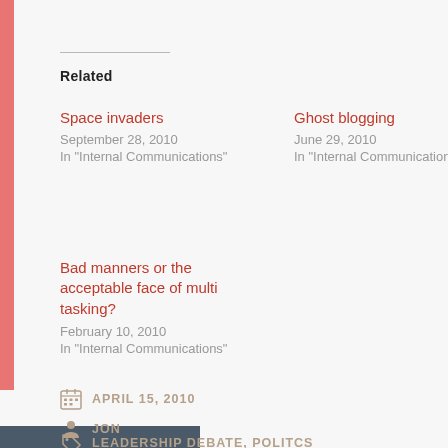Related
Space invaders
September 28, 2010
In "Internal Communications"
Ghost blogging
June 29, 2010
In "Internal Communications"
Bad manners or the acceptable face of multi tasking?
February 10, 2010
In "Internal Communications"
APRIL 15, 2010
JON
LEADERSHIP DEBATE, POLITCS